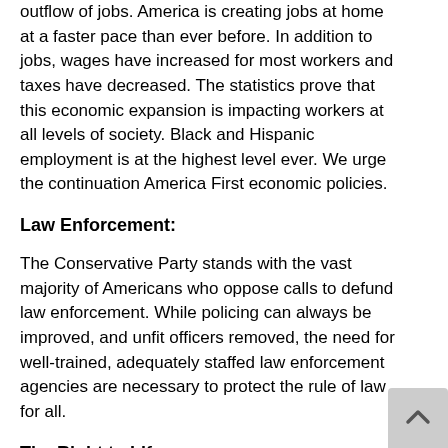outflow of jobs. America is creating jobs at home at a faster pace than ever before. In addition to jobs, wages have increased for most workers and taxes have decreased. The statistics prove that this economic expansion is impacting workers at all levels of society. Black and Hispanic employment is at the highest level ever. We urge the continuation America First economic policies.
Law Enforcement:
The Conservative Party stands with the vast majority of Americans who oppose calls to defund law enforcement. While policing can always be improved, and unfit officers removed, the need for well-trained, adequately staffed law enforcement agencies are necessary to protect the rule of law for all.
The Right to Life:
Throughout the history of the Conservative Party we have